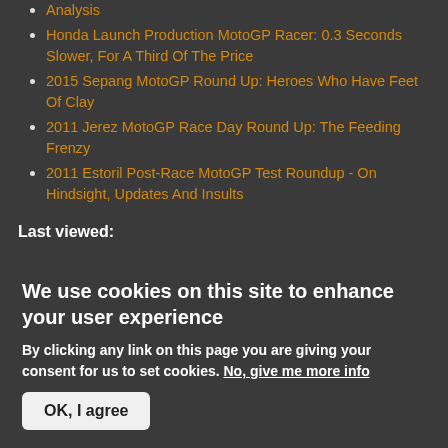Analysis
Honda Launch Production MotoGP Racer: 0.3 Seconds Slower, For A Third Of The Price
2015 Sepang MotoGP Round Up: Heroes Who Have Feet Of Clay
2011 Jerez MotoGP Race Day Round Up: The Feeding Frenzy
2011 Estoril Post-Race MotoGP Test Roundup - On Hindsight, Updates And Insults
Last viewed:
We use cookies on this site to enhance your user experience
By clicking any link on this page you are giving your consent for us to set cookies. No, give me more info
OK, I agree